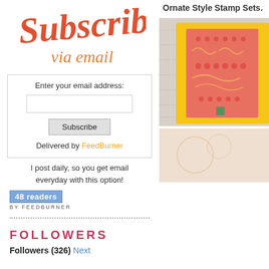[Figure (illustration): Subscribe via email decorative script logo in red/orange color]
Enter your email address:
Subscribe
Delivered by FeedBurner
I post daily, so you get email everyday with this option!
[Figure (illustration): FeedBurner badge showing 48 readers]
FOLLOWERS
Followers (326) Next
Ornate Style Stamp Sets.
[Figure (photo): Yellow and pink ornate stamp card on wooden background]
[Figure (photo): Second stamp/craft card, partially visible]